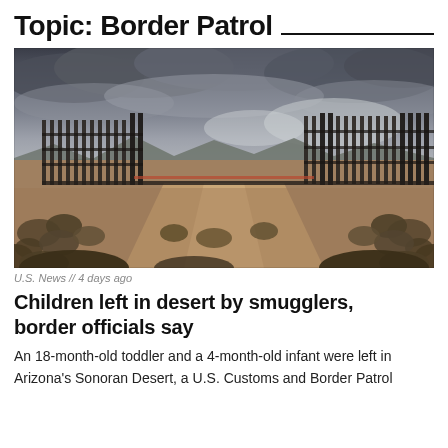Topic: Border Patrol
[Figure (photo): Photograph of the U.S.-Mexico border fence/wall structure in the Sonoran Desert, Arizona. Metal vertical posts forming sections of border barrier are visible on the left and right, with a gap in the middle. A dirt road runs along the fence line. Desert scrub brush in the foreground, mountains and dramatic overcast cloudy sky in the background. Dark, moody lighting.]
U.S. News // 4 days ago
Children left in desert by smugglers, border officials say
An 18-month-old toddler and a 4-month-old infant were left in Arizona's Sonoran Desert, a U.S. Customs and Border Patrol